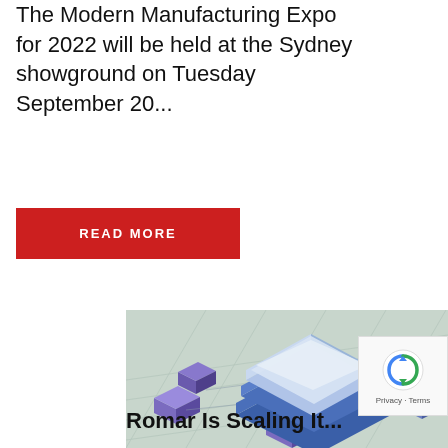The Modern Manufacturing Expo for 2022 will be held at the Sydney showground on Tuesday September 20...
READ MORE
[Figure (illustration): Isometric illustration of a stacked database or server architecture with blue layered blocks in the center, connected to smaller purple/blue cube nodes on a light teal grid background.]
Romar Is Scaling It...